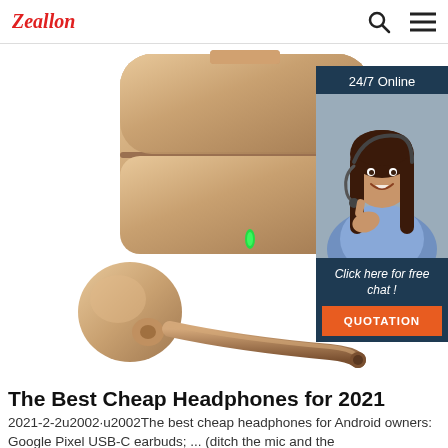Zeallon
[Figure (photo): Gold/rose-gold wireless earbuds with charging case. One earbud visible in foreground, charging case open in background with green LED indicator. Overlay ad widget showing customer service agent with '24/7 Online', 'Click here for free chat!', and 'QUOTATION' button.]
The Best Cheap Headphones for 2021
2021-2-2u2002·u2002The best cheap headphones for Android owners: Google Pixel USB-C earbuds; ... (ditch the mic and the